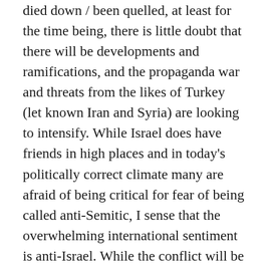died down / been quelled, at least for the time being, there is little doubt that there will be developments and ramifications, and the propaganda war and threats from the likes of Turkey (let known Iran and Syria) are looking to intensify. While Israel does have friends in high places and in today's politically correct climate many are afraid of being critical for fear of being called anti-Semitic, I sense that the overwhelming international sentiment is anti-Israel. While the conflict will be seen mainly in earthly terms, I see it as an essentially spiritual one. We live in momentous times with biblical